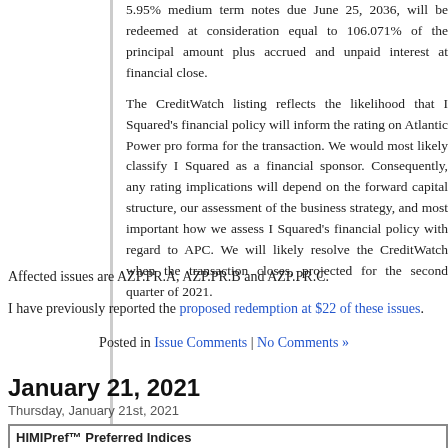5.95% medium term notes due June 25, 2036, will be redeemed at consideration equal to 106.071% of the principal amount plus accrued and unpaid interest at financial close.
The CreditWatch listing reflects the likelihood that I Squared's financial policy will inform the rating on Atlantic Power pro forma for the transaction. We would most likely classify I Squared as a financial sponsor. Consequently, any rating implications will depend on the forward capital structure, our assessment of the business strategy, and most important how we assess I Squared's financial policy with regard to APC. We will likely resolve the CreditWatch when the transaction closes, projected for the second quarter of 2021.
Affected issues are AZP.PR.A, AZP.PR.B and AZP.PR.C.
I have previously reported the proposed redemption at $22 of these issues.
Posted in Issue Comments | No Comments »
January 21, 2021
Thursday, January 21st, 2021
| Index | Mean Current | Median | Median Average | Median Mod | Issues | Day's | In... |
| --- | --- | --- | --- | --- | --- | --- | --- |